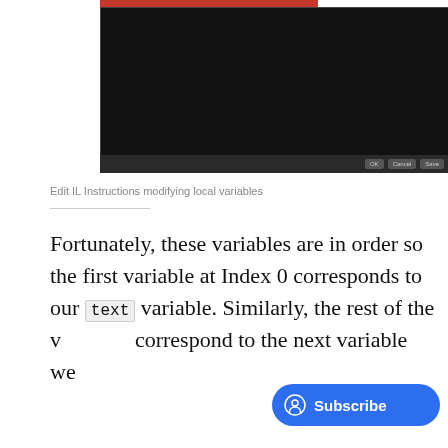[Figure (screenshot): A dark/black screenshot of a software interface with small buttons (OK, Cancel, Save) at the bottom right]
Edit IL Instructions modifying local variables
Fortunately, these variables are in order so the first variable at Index 0 corresponds to our text variable. Similarly, the rest of the v… correspond to the next variable we